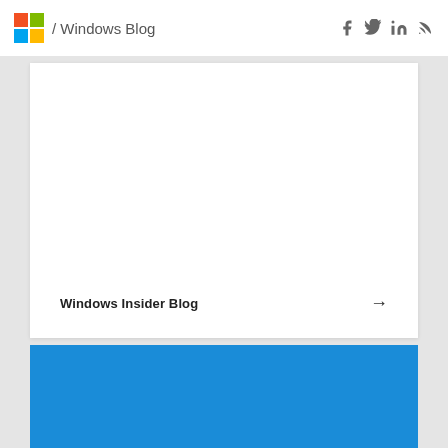/ Windows Blog
Windows Insider Blog →
[Figure (logo): Windows 11 logo with four-pane Windows logo and text 'Windows 11' on blue background]